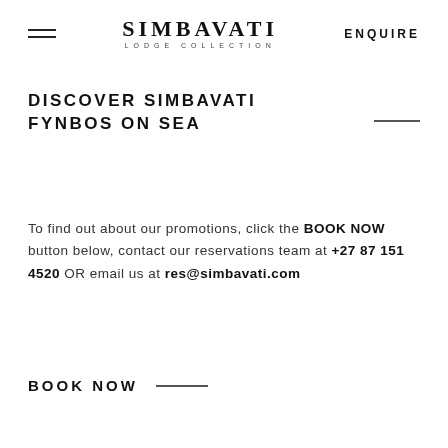SIMBAVATI LODGE COLLECTION  ENQUIRE
DISCOVER SIMBAVATI FYNBOS ON SEA
To find out about our promotions, click the BOOK NOW button below, contact our reservations team at +27 87 151 4520 OR email us at res@simbavati.com
BOOK NOW